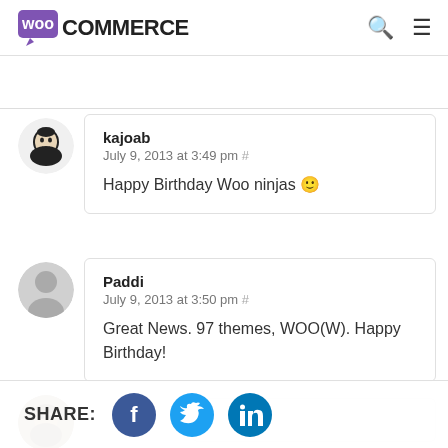WooCommerce
kajoab
July 9, 2013 at 3:49 pm #
Happy Birthday Woo ninjas 🙂
Paddi
July 9, 2013 at 3:50 pm #
Great News. 97 themes, WOO(W). Happy Birthday!
SHARE: